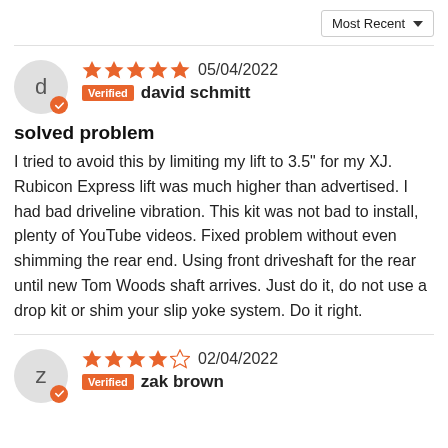Most Recent ▼
d · 5 stars · 05/04/2022 · Verified · david schmitt
solved problem
I tried to avoid this by limiting my lift to 3.5" for my XJ. Rubicon Express lift was much higher than advertised. I had bad driveline vibration. This kit was not bad to install, plenty of YouTube videos. Fixed problem without even shimming the rear end. Using front driveshaft for the rear until new Tom Woods shaft arrives. Just do it, do not use a drop kit or shim your slip yoke system. Do it right.
z · 4 stars · 02/04/2022 · Verified · zak brown